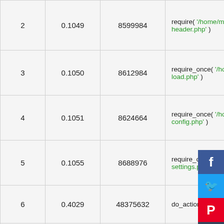| # | Time | Memory | Function |
| --- | --- | --- | --- |
| 2 | 0.1049 | 8599984 | require( '/home/mydigita…header.php' ) |
| 3 | 0.1050 | 8612984 | require_once( '/home/my…load.php' ) |
| 4 | 0.1051 | 8624664 | require_once( '/ho…config.php' ) |
| 5 | 0.1055 | 8688976 | require_once( '/ho…settings.php' ) |
| 6 | 0.4029 | 48375632 | do_action( $tag = '… |
| 7 | 0.4029 | 48376008 | WP_Hook->do_ac… |
| 8 | 0.4029 | 48376008 | WP_Hook->apply_filters… |
| 9 | 0.4584 | 53902128 | Jetpack::load_modules(… |